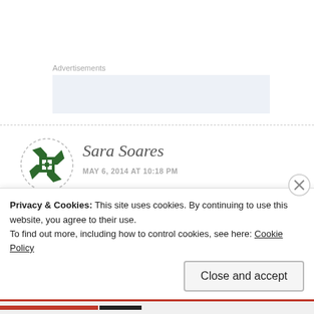Advertisements
[Figure (other): Light blue-gray advertisement placeholder box]
Sara Soares
MAY 6, 2014 AT 10:18 PM
[Figure (logo): Circular dashed-border avatar with green pinwheel/quilt pattern icon for Sara Soares]
Lindíssimo, Ana!
Privacy & Cookies: This site uses cookies. By continuing to use this website, you agree to their use.
To find out more, including how to control cookies, see here: Cookie Policy
Close and accept